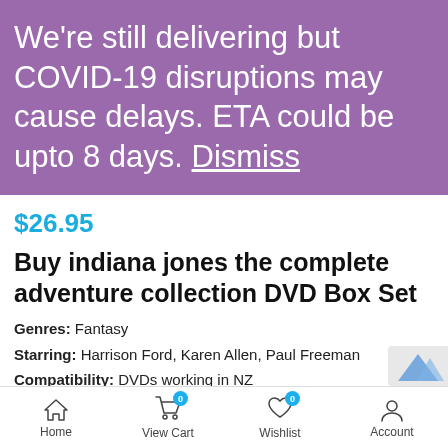We're still delivering but COVID-19 disruptions may cause delays. ETA could be upto 8 days. Dismiss
$26.95
Buy indiana jones the complete adventure collection DVD Box Set
Genres: Fantasy
Starring: Harrison Ford, Karen Allen, Paul Freeman
Compatibility: DVDs working in NZ
Home   View Cart   Wishlist   Account